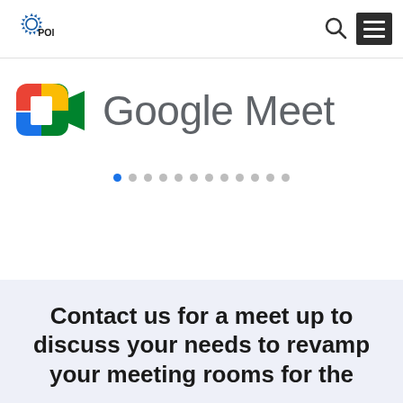POINTSTAR
[Figure (logo): Google Meet logo with colorful video camera icon and 'Google Meet' text in grey]
[Figure (other): Carousel dot indicators, first dot highlighted in blue]
Contact us for a meet up to discuss your needs to revamp your meeting rooms for the